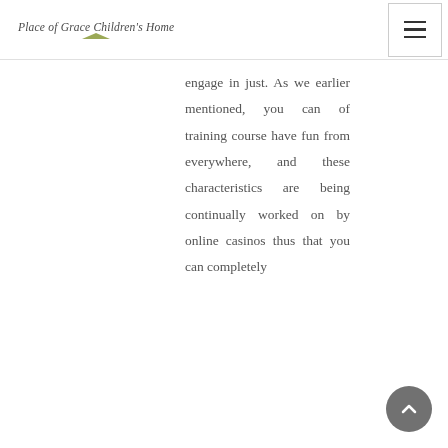Place of Grace Children's Home
engage in just. As we earlier mentioned, you can of training course have fun from everywhere, and these characteristics are being continually worked on by online casinos thus that you can completely